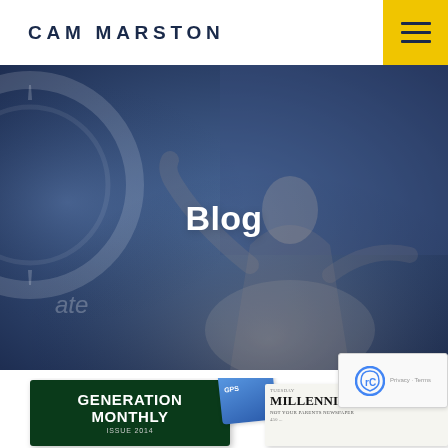CAM MARSTON
[Figure (photo): Man in suit speaking on stage with arms raised, dark blue stage backdrop with circular gear-like graphic on the left, 'Blog' text overlaid in white center]
Blog
[Figure (photo): Partially visible thumbnail of 'Generation Monthly' magazine with dark green background and white text, a blue GPS card, and 'Millennial Times - Not Your Parents Newspaper' newspaper thumbnail]